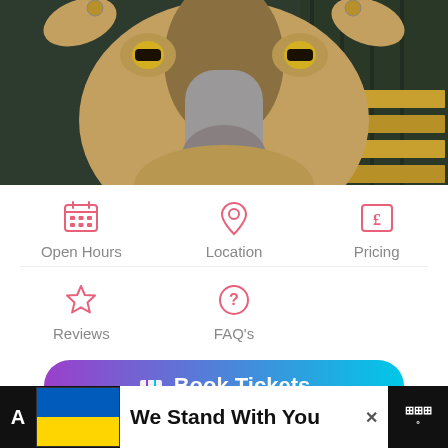[Figure (photo): Close-up photo of a goat face looking directly at camera, brown and grey fur, yellow eyes, green and yellow wooden fence in background]
Open Hours
Location
Pricing
Reviews
FAQ's
Book Tickets
We Stand With You